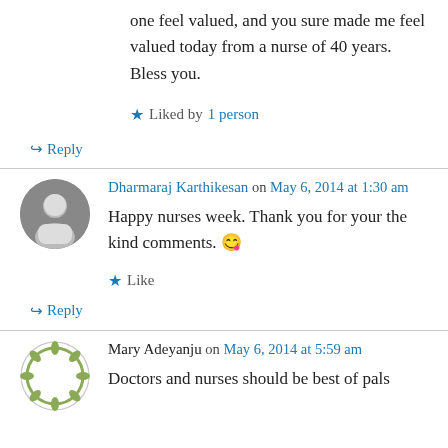one feel valued, and you sure made me feel valued today from a nurse of 40 years. Bless you.
Liked by 1 person
Reply
Dharmaraj Karthikesan on May 6, 2014 at 1:30 am
Happy nurses week. Thank you for your the kind comments. 😊
Like
Reply
Mary Adeyanju on May 6, 2014 at 5:59 am
Doctors and nurses should be best of pals